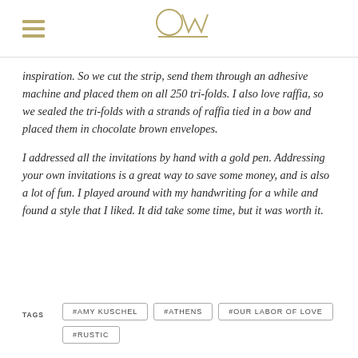OW logo and hamburger menu
inspiration.  So we cut the strip, send them through an adhesive machine and placed them on all 250 tri-folds. I also love raffia, so we sealed the tri-folds with a strands of raffia tied in a bow and placed them in chocolate brown envelopes.
I addressed all the invitations by hand with a gold pen. Addressing your own invitations is a great way to save some money, and is also a lot of fun. I played around with my handwriting for a while and found a style that I liked. It did take some time, but it was worth it.
#AMY KUSCHEL
#ATHENS
#OUR LABOR OF LOVE
#RUSTIC